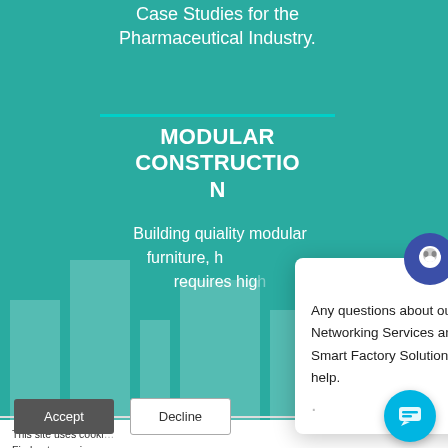Case Studies for the Pharmaceutical Industry.
MODULAR CONSTRUCTION
Building quiality modular furniture, homes and ... requires hig...
This site uses cooki... Find out more in our...
If you choose Declin... us. To comply with y... to use cookies.
Any questions about our Industrial Networking Services and/or about our Smart Factory Solutions? I'm happy to help.
[Figure (screenshot): Cookie consent dialog with Accept and Decline buttons, and a chat assistant popup overlay on a teal-background webpage about Modular Construction.]